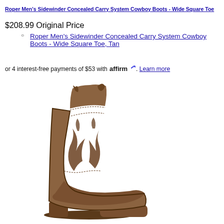Roper Men's Sidewinder Concealed Carry System Cowboy Boots - Wide Square Toe
$208.99 Original Price
Roper Men's Sidewinder Concealed Carry System Cowboy Boots - Wide Square Toe, Tan
or 4 interest-free payments of $53 with Affirm. Learn more
[Figure (photo): Tan/brown leather cowboy boot with wide square toe, decorative stitching and cutout flame/leaf pattern on the shaft, low heel, shown from a three-quarter front angle.]